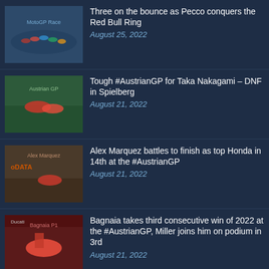Three on the bounce as Pecco conquers the Red Bull Ring
August 25, 2022
Tough #AustrianGP for Taka Nakagami – DNF in Spielberg
August 21, 2022
Alex Marquez battles to finish as top Honda in 14th at the #AustrianGP
August 21, 2022
Bagnaia takes third consecutive win of 2022 at the #AustrianGP, Miller joins him on podium in 3rd
August 21, 2022
Tatsuki Suzuki secures another podium with 2nd at #AustrianGP, Foggia 12th
August 21, 2022
Zarca 5th, Martin 19th after...